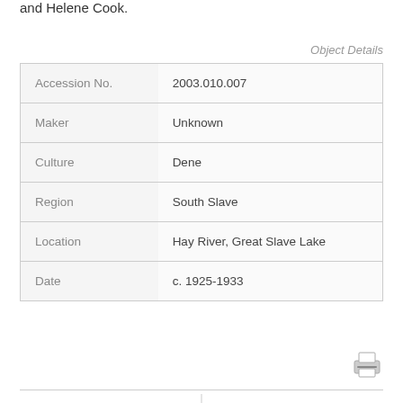and Helene Cook.
Object Details
| Accession No. | 2003.010.007 |
| Maker | Unknown |
| Culture | Dene |
| Region | South Slave |
| Location | Hay River, Great Slave Lake |
| Date | c. 1925-1933 |
« Showcase